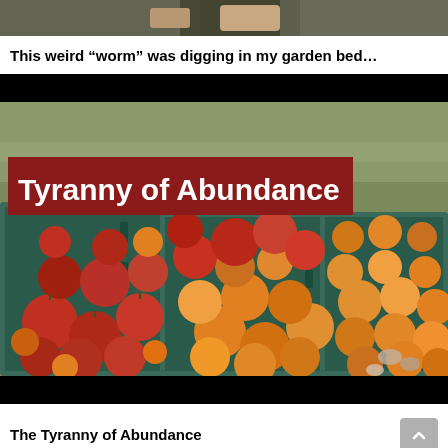[Figure (photo): Top cropped photo showing hands/garden area with dark background]
This weird “worm” was digging in my garden bed…
[Figure (photo): Video thumbnail showing crates of red and yellow/orange tomatoes with text overlay 'Tyranny of Abundance' on a dark red banner]
The Tyranny of Abundance